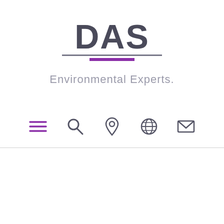[Figure (logo): DAS Environmental Experts logo — bold dark 'DAS' text with gray underline and purple accent bar beneath, tagline 'Environmental Experts.' in light gray]
[Figure (infographic): Navigation icon bar with hamburger menu icon, search icon, location pin icon, globe/world icon, and envelope/mail icon in dark gray]